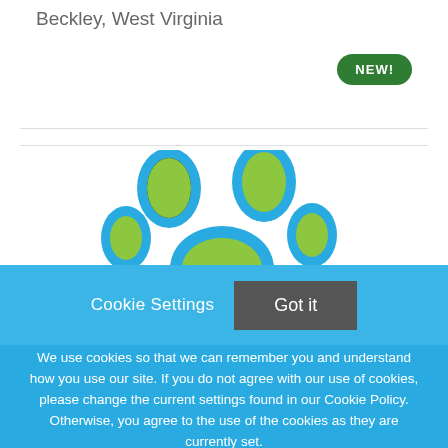Beckley, West Virginia
[Figure (illustration): Green oval NEW! badge in dark green rounded pill shape]
[Figure (logo): Partial paw print logo with blue outlines and yellow-green fill, showing two toe beans on top and partial lower portion]
Cookie Settings
Got it
We use cookies so that we can remember you and understand how you use our site. If you do not agree with our use of cookies, please change the current settings found in our Cookie Policy. Otherwise, you agree to the use of the cookies as they are currently set.